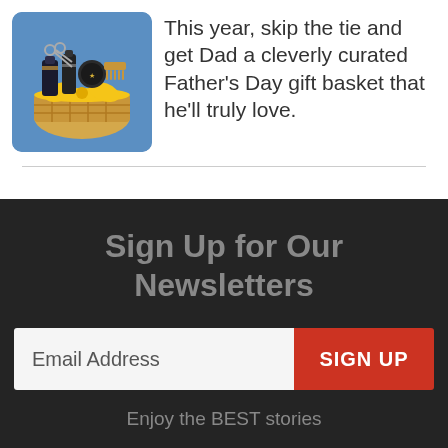[Figure (illustration): Illustrated gift basket with grooming products, comb, scissors, and a blue bow, on a blue background]
This year, skip the tie and get Dad a cleverly curated Father's Day gift basket that he'll truly love.
Sign Up for Our Newsletters
Email Address
SIGN UP
Enjoy the BEST stories